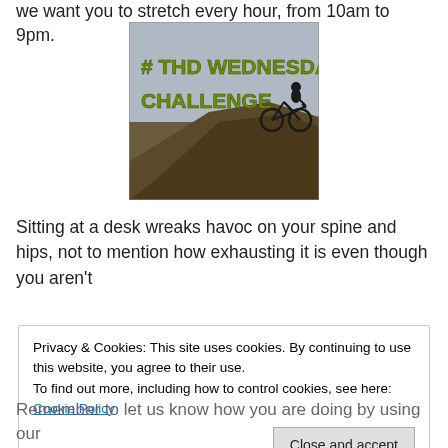we want you to stretch every hour, from 10am to 9pm.
[Figure (photo): Photo with text overlay reading '# THD WEDNESDAY CHALLENGE', showing a silhouette of a person on a bicycle on a hill against a cloudy sky]
Sitting at a desk wreaks havoc on your spine and hips, not to mention how exhausting it is even though you aren't
Privacy & Cookies: This site uses cookies. By continuing to use this website, you agree to their use.
To find out more, including how to control cookies, see here: Cookie Policy
Remember to let us know how you are doing by using our